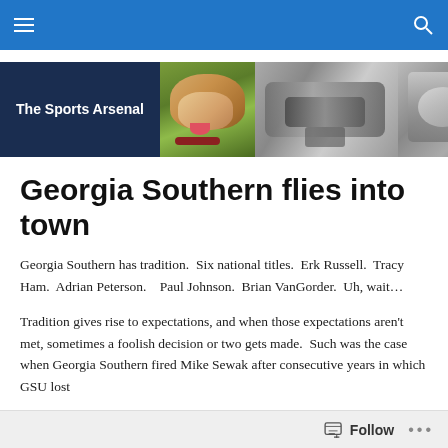Navigation bar with hamburger menu and search icon
[Figure (illustration): The Sports Arsenal website banner with logo text on dark blue background on left, and three sports photographs on right including a bulldog mascot and football action shots in black and white]
Georgia Southern flies into town
Georgia Southern has tradition.  Six national titles.  Erk Russell.  Tracy Ham.  Adrian Peterson.   Paul Johnson.  Brian VanGorder.  Uh, wait...
Tradition gives rise to expectations, and when those expectations aren't met, sometimes a foolish decision or two gets made.  Such was the case when Georgia Southern fired Mike Sewak after consecutive years in which GSU lost
Follow  •••